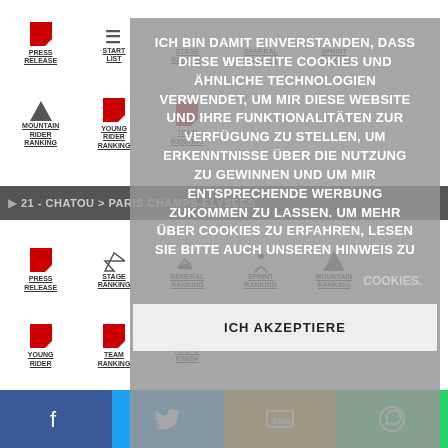[Figure (screenshot): Navigation grid with PDF icons, mountain icon, cyclist icon, camera icon, and various ranking links for a cycling event website. Labels include PRESS RELEASE, START LIST, STAGE RANKING, GENERAL RANKING, SPRINT RANKING, YOUNG RIDER RANKING, MOUNTAINRIDER RANKING, TEAM RANKING, and PHOTOFINISH.]
21 - CHATOU > PARIS CHAMPS-ELYSEES
ICH BIN DAMIT EINVERSTANDEN, DASS DIESE WEBSEITE COOKIES UND ÄHNLICHE TECHNOLOGIEN VERWENDET, UM MIR DIESE WEBSITE UND IHRE FUNKTIONALITÄTEN ZUR VERFÜGUNG ZU STELLEN, UM ERKENNTNISSE ÜBER DIE NUTZUNG ZU GEWINNEN UND UM MIR ENTSPRECHENDE WERBUNG ZUKOMMEN ZU LASSEN. UM MEHR ÜBER COOKIES ZU ERFAHREN, LESEN SIE BITTE AUCH UNSEREN HINWEIS ZU COOKIES.
ICH AKZEPTIERE
[Figure (screenshot): Social sharing bar with Facebook (blue), Twitter (light blue), SMS (gold/yellow), and WhatsApp (green) buttons.]